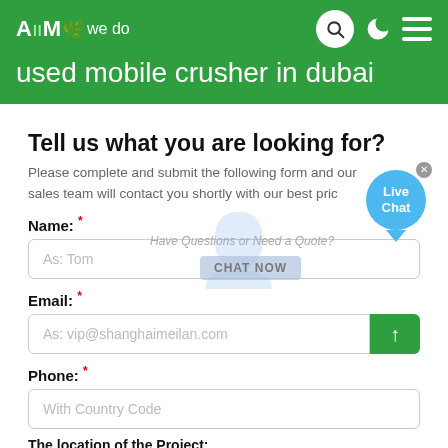AMC - All we do | used mobile crusher in dubai
used mobile crusher in dubai
Tell us what you are looking for?
Please complete and submit the following form and our sales team will contact you shortly with our best price.
Name: *
As: Tom
Email: *
As: vip@shanghaimeilan.com
Phone: *
With Country Code
The location of the Project: